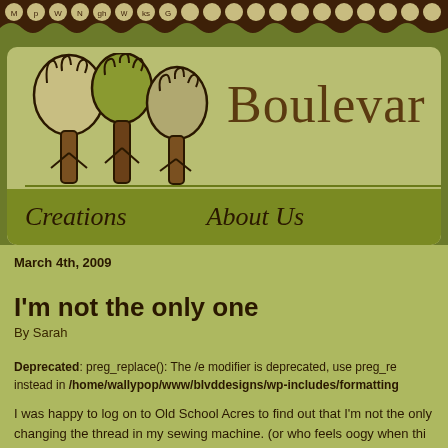[Figure (illustration): Decorative top bar with brown background, circular letter/dot icons, and scalloped bottom edge]
[Figure (logo): Three stylized trees illustration used as site logo on olive/tan background header card]
Boulevar
Creations   About Us
March 4th, 2009
I'm not the only one
By Sarah
Deprecated: preg_replace(): The /e modifier is deprecated, use preg_re instead in /home/wallypop/www/blvddesigns/wp-includes/formatting
I was happy to log on to Old School Acres to find out that I'm not the only changing the thread in my sewing machine. (or who feels oogy when thi